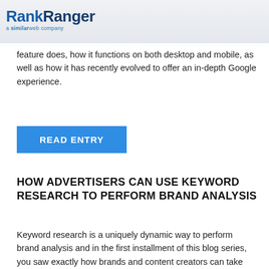RankRanger a similarweb company
feature does, how it functions on both desktop and mobile, as well as how it has recently evolved to offer an in-depth Google experience.
READ ENTRY
HOW ADVERTISERS CAN USE KEYWORD RESEARCH TO PERFORM BRAND ANALYSIS
Keyword research is a uniquely dynamic way to perform brand analysis and in the first installment of this blog series, you saw exactly how brands and content creators can take advantage of this far-